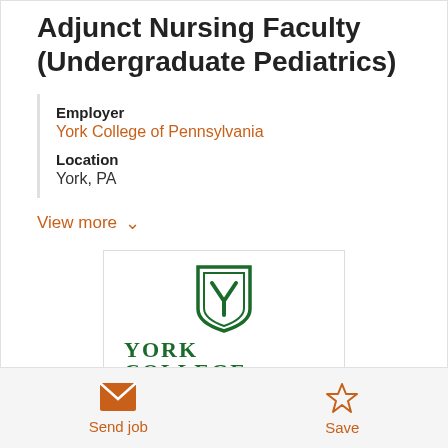Adjunct Nursing Faculty (Undergraduate Pediatrics)
Employer
York College of Pennsylvania
Location
York, PA
View more
[Figure (logo): York College of Pennsylvania logo: green shield emblem with stylized Y above the text YORK COLLEGE OF PENNSYLVANIA in green]
Send job
Save